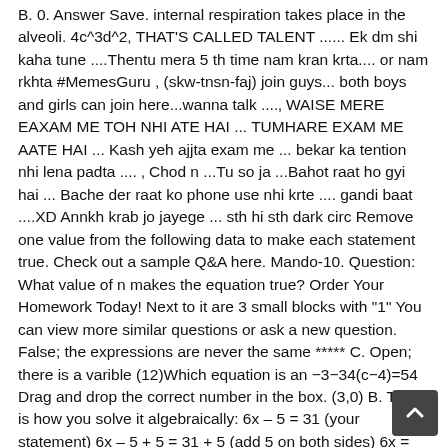B. 0. Answer Save. internal respiration takes place in the alveoli. 4c^3d^2, THAT'S CALLED TALENT ...... Ek dm shi kaha tune ....Thentu mera 5 th time nam kran krta.... or nam rkhta #MemesGuru , (skw-tnsn-faj) join guys... both boys and girls can join here...wanna talk ....‚ WAISE MERE EAXAM ME TOH NHI ATE HAI ... TUMHARE EXAM ME AATE HAI ... Kash yeh ajjta exam me ... bekar ka tention nhi lena padta .... ‚ Chod n ...Tu so ja ...Bahot raat ho gyi hai ... Bache der raat ko phone use nhi krte .... gandi baat ....XD Annkh krab jo jayege ... sth hi sth dark circ Remove one value from the following data to make each statement true. Check out a sample Q&A here. Mando-10. Question: What value of n makes the equation true? Order Your Homework Today! Next to it are 3 small blocks with "1" You can view more similar questions or ask a new question. False; the expressions are never the same ***** C. Open; there is a varible (12)Which equation is an −3−34(c−4)=54 Drag and drop the correct number in the box. (3,0) B. This is how you solve it algebraically: 6x – 5 = 31 (your statement) 6x – 5 + 5 = 31 + 5 (add 5 on both sides) 6x = 36 (simplify) 6x/6 = 36/6